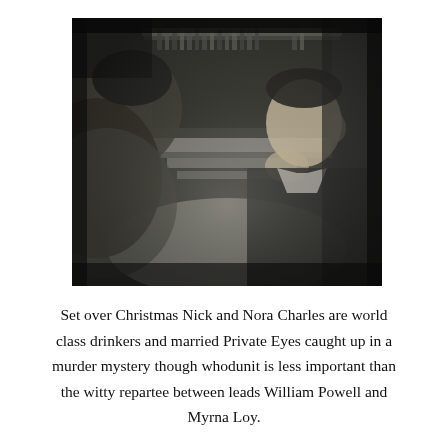[Figure (photo): Black and white film still showing two people seated at a bar or table. On the right is a man in a suit, chin resting on hand, looking toward someone on the left. On the left is a woman partially visible with her back and side to camera. A bar with bottles is visible in the background. The scene is dimly lit and has a classic 1930s film noir aesthetic.]
Set over Christmas Nick and Nora Charles are world class drinkers and married Private Eyes caught up in a murder mystery though whodunit is less important than the witty repartee between leads William Powell and Myrna Loy.